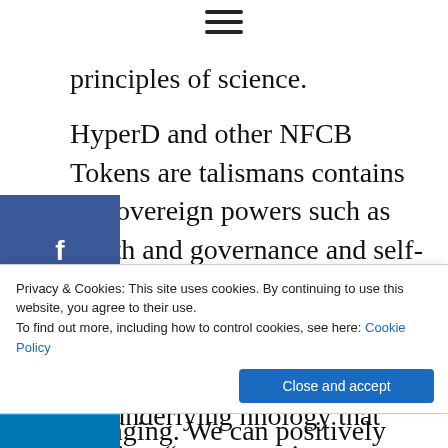[Figure (other): Hamburger menu icon with three horizontal lines]
principles of science.
HyperD and other NFCB Tokens are talismans contains all sovereign powers such as worth and governance and self-determination.
[Figure (other): Social share sidebar with Facebook, Twitter, LinkedIn buttons and a plus button]
We are seeding a movement beyond evolution by matching the underlying technology that inspires “crypto-kinetic innovation” with solving the
Privacy & Cookies: This site uses cookies. By continuing to use this website, you agree to their use. To find out more, including how to control cookies, see here: Cookie Policy
changing. We can positively impact the